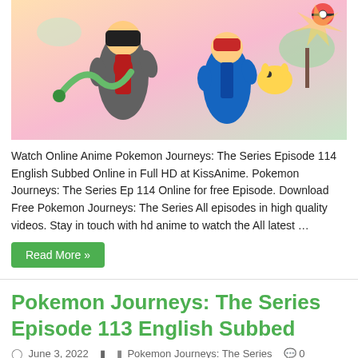[Figure (illustration): Pokemon Journeys anime artwork showing two trainers and Pokemon characters on a colorful background]
Watch Online Anime Pokemon Journeys: The Series Episode 114 English Subbed Online in Full HD at KissAnime. Pokemon Journeys: The Series Ep 114 Online for free Episode. Download Free Pokemon Journeys: The Series All episodes in high quality videos. Stay in touch with hd anime to watch the All latest …
Read More »
Pokemon Journeys: The Series Episode 113 English Subbed
June 3, 2022   Pokemon Journeys: The Series   0
[Figure (illustration): Pokemon Journeys Episode 113 anime artwork with Pokemon characters including Snorlax, with a Breaking NEWS badge in the top right corner]